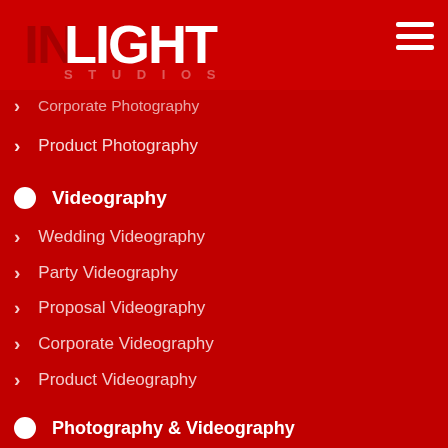[Figure (logo): INLIGHT STUDIOS logo — dark 'IN' text overlaid by white 'LIGHT' text, with 'STUDIOS' in spaced caps below, on red background]
Proposal Photography
Corporate Photography
Product Photography
Videography
Wedding Videography
Party Videography
Proposal Videography
Corporate Videography
Product Videography
Photography & Videography
Wedding Photography & Videography
Party Photography & Videography
Proposal Photography & Videography
Corporate Photography & Videography
Product Photography & Videography